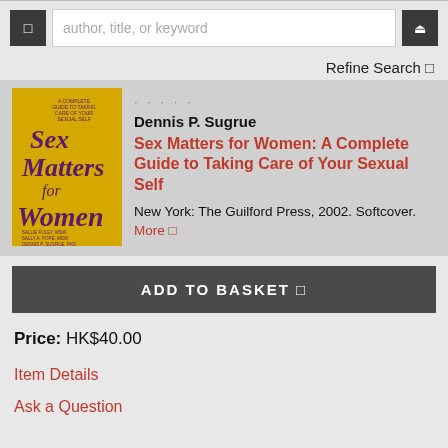[Figure (screenshot): Search bar UI with menu button on left, text input with placeholder 'author, title, or keyword', and search button on right]
Refine Search
[Figure (photo): Book cover for 'Sex Matters for Women: A Complete Guide to Taking Care of Your Sexual Self' with yellow background and purple text]
Dennis P. Sugrue
Sex Matters for Women: A Complete Guide to Taking Care of Your Sexual Self
New York: The Guilford Press, 2002. Softcover. More
ADD TO BASKET
Price: HK$40.00
Item Details
Ask a Question